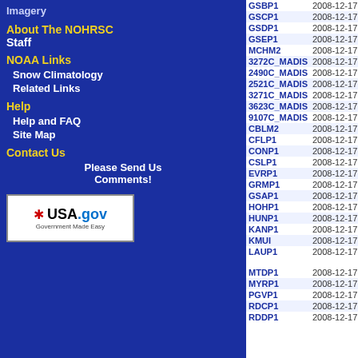Imagery
About The NOHRSC Staff
NOAA Links
Snow Climatology
Related Links
Help
Help and FAQ
Site Map
Contact Us
Please Send Us Comments!
[Figure (logo): USA.gov - Government Made Easy logo]
| Station | Date/Time | Value | Elev |
| --- | --- | --- | --- |
| GSBP1 | 2008-12-17 16 | 3.000 | 1647 |
| GSCP1 | 2008-12-17 16 | 3.000 | 1791 |
| GSDP1 | 2008-12-17 16 | 3.000 | 2224 |
| GSEP1 | 2008-12-17 16 | 3.000 | 1650 |
| MCHM2 | 2008-12-17 12 | 3.000 | 2733 |
| 3272C_MADIS | 2008-12-17 13 | 2.600 | 1562 |
| 2490C_MADIS | 2008-12-17 12 | 2.000 | 1381 |
| 2521C_MADIS | 2008-12-17 12 | 2.000 | 938 |
| 3271C_MADIS | 2008-12-17 13 | 2.000 | 1217 |
| 3623C_MADIS | 2008-12-17 12 | 2.000 | 781 |
| 9107C_MADIS | 2008-12-17 12 | 2.000 | 2365 |
| CBLM2 | 2008-12-17 12 | 2.000 | 732 |
| CFLP1 | 2008-12-17 13 | 2.000 | 1453 |
| CONP1 | 2008-12-17 12 | 2.000 |  |
| CSLP1 | 2008-12-17 12 | 2.000 | 407 |
| EVRP1 | 2008-12-17 12 | 2.000 | 1161 |
| GRMP1 | 2008-12-17 13 | 2.000 | 1535 |
| GSAP1 | 2008-12-17 16 | 2.000 | 1253 |
| HOHP1 | 2008-12-17 12 | 2.000 | 1811 |
| HUNP1 | 2008-12-17 12 | 2.000 | 722 |
| KANP1 | 2008-12-17 12 | 2.000 | 2014 |
| KMUI | 2008-12-17 12 | 2.000 | 466 |
| LAUP1 | 2008-12-17 11 | 2.000 | 2283 |
| MTDP1 | 2008-12-17 12 | 2.000 | 2730 |
| MYRP1 | 2008-12-17 12 | 2.000 | 2638 |
| PGVP1 | 2008-12-17 12 | 2.000 | 518 |
| RDCP1 | 2008-12-17 15 | 2.000 | 1952 |
| RDDP1 | 2008-12-17 15 | 2.000 | 1795 |